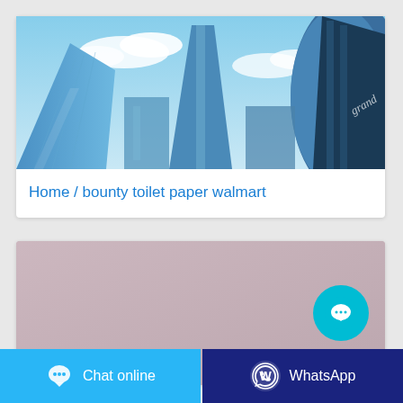[Figure (photo): Upward view of modern glass skyscrapers against a blue sky with clouds]
Home / bounty toilet paper walmart
[Figure (photo): Product display area with pinkish-mauve background and a cyan chat bubble button overlay]
Chat online
WhatsApp